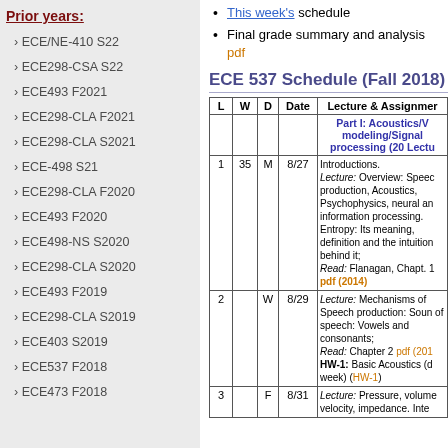Prior years:
ECE/NE-410 S22
ECE298-CSA S22
ECE493 F2021
ECE298-CLA F2021
ECE298-CLA S2021
ECE-498 S21
ECE298-CLA F2020
ECE493 F2020
ECE498-NS S2020
ECE298-CLA S2020
ECE493 F2019
ECE298-CLA S2019
ECE403 S2019
ECE537 F2018
ECE473 F2018
This week's schedule
Final grade summary and analysis
pdf
ECE 537 Schedule (Fall 2018)
| L | W | D | Date | Lecture & Assignment |
| --- | --- | --- | --- | --- |
|  |  |  |  | Part I: Acoustics/Voice modeling/Signal processing (20 Lectures) |
| 1 | 35 | M | 8/27 | Introductions. Lecture: Overview: Speech production, Acoustics, Psychophysics, neural and information processing. Entropy: Its meaning, definition and the intuition behind it; Read: Flanagan, Chapt. 1 pdf (2014) |
| 2 |  | W | 8/29 | Lecture: Mechanisms of Speech production: Sounds of speech: Vowels and consonants; Read: Chapter 2 pdf (2014) HW-1: Basic Acoustics (due next week) (HW-1) |
| 3 |  | F | 8/31 | Lecture: Pressure, volume velocity, impedance. Inter... |